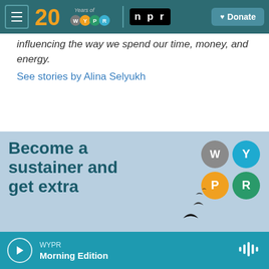WYPR 20 Years of WYPR | NPR | Donate
influencing the way we spend our time, money, and energy.
See stories by Alina Selyukh
[Figure (illustration): WYPR advertisement banner: 'Become a sustainer and get extra' with WYPR logo circles and bird silhouettes on light blue background]
WYPR Morning Edition